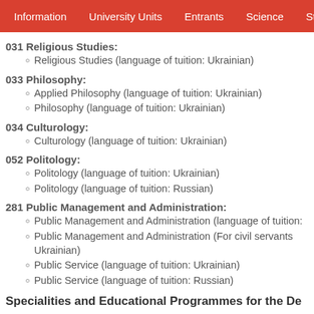Information  University Units  Entrants  Science  Stude
031 Religious Studies:
Religious Studies (language of tuition: Ukrainian)
033 Philosophy:
Applied Philosophy (language of tuition: Ukrainian)
Philosophy (language of tuition: Ukrainian)
034 Culturology:
Culturology (language of tuition: Ukrainian)
052 Politology:
Politology (language of tuition: Ukrainian)
Politology (language of tuition: Russian)
281 Public Management and Administration:
Public Management and Administration (language of tuition:
Public Management and Administration (For civil servants Ukrainian)
Public Service (language of tuition: Ukrainian)
Public Service (language of tuition: Russian)
Specialities and Educational Programmes for the De
031 Religious Studies:
Religious Studies (language of tuition: Ukrainian)
033 Philosophy: